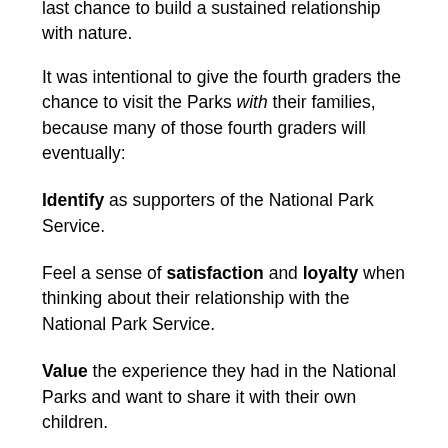last chance to build a sustained relationship with nature.
It was intentional to give the fourth graders the chance to visit the Parks with their families, because many of those fourth graders will eventually:
Identify as supporters of the National Park Service.
Feel a sense of satisfaction and loyalty when thinking about their relationship with the National Park Service.
Value the experience they had in the National Parks and want to share it with their own children.
Advocate for the future existence of the National Park Service.